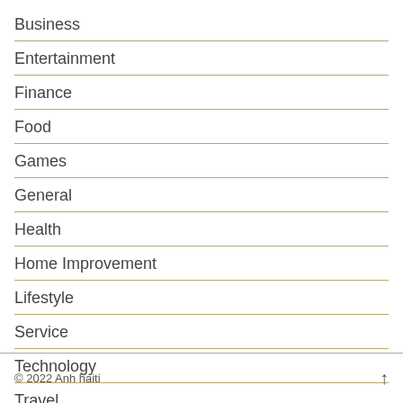Business
Entertainment
Finance
Food
Games
General
Health
Home Improvement
Lifestyle
Service
Technology
Travel
© 2022 Anh haiti